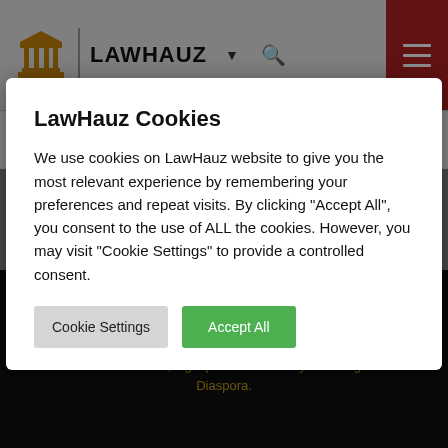LAWHAUZ
Business
LawHauz Cookies
We use cookies on LawHauz website to give you the most relevant experience by remembering your preferences and repeat visits. By clicking “Accept All”, you consent to the use of ALL the cookies. However, you may visit "Cookie Settings" to provide a controlled consent.
Cookie Settings   Accept All
LAWHAUZ
News centered on law, legal practice and lawyers in Nigeria and Diaspora.